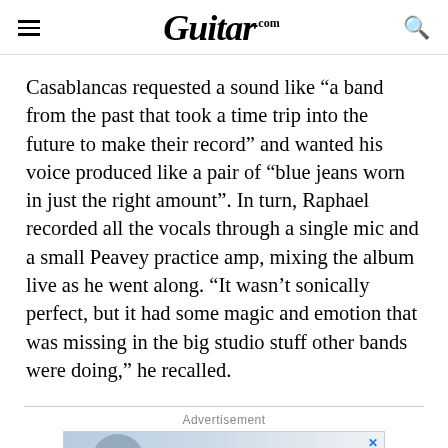Guitar.com
Casablancas requested a sound like “a band from the past that took a time trip into the future to make their record” and wanted his voice produced like a pair of “blue jeans worn in just the right amount”. In turn, Raphael recorded all the vocals through a single mic and a small Peavey practice amp, mixing the album live as he went along. “It wasn’t sonically perfect, but it had some magic and emotion that was missing in the big studio stuff other bands were doing,” he recalled.
Advertisement
[Figure (photo): Advertisement banner with a person and Harmony brand text]